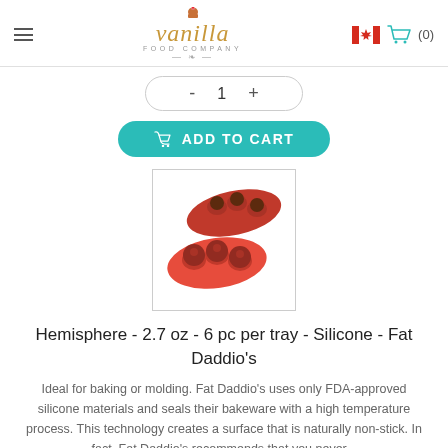Vanilla Food Company
[Figure (screenshot): Quantity selector showing minus, 1, plus buttons in a rounded pill-shaped box]
[Figure (screenshot): Teal 'ADD TO CART' button with shopping basket icon]
[Figure (photo): Red silicone hemisphere baking mold with 6 cavities, shown with chocolate spheres]
Hemisphere - 2.7 oz - 6 pc per tray - Silicone - Fat Daddio's
Ideal for baking or molding. Fat Daddio's uses only FDA-approved silicone materials and seals their bakeware with a high temperature process. This technology creates a surface that is naturally non-stick. In fact, Fat Daddio's recommends that you never...